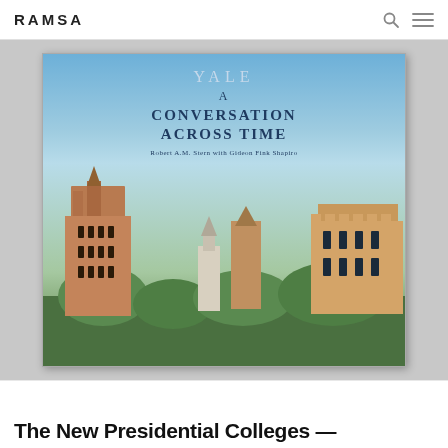RAMSA
[Figure (photo): Book cover of 'Yale: A Conversation Across Time' by Robert A.M. Stern with Gideon Fink Shapiro, showing Yale University skyline with Gothic towers against a blue sky]
The New Presidential Colleges —